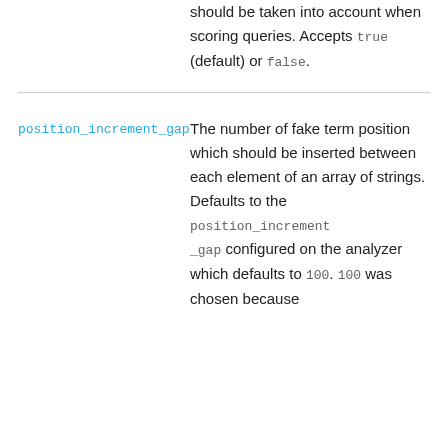should be taken into account when scoring queries. Accepts true (default) or false.
position_increment_gap
The number of fake term position which should be inserted between each element of an array of strings. Defaults to the position_increment_gap configured on the analyzer which defaults to 100. 100 was chosen because